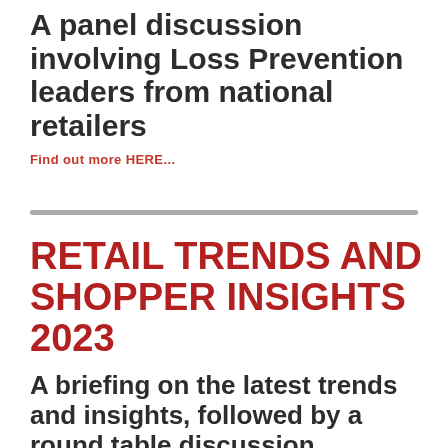A panel discussion involving Loss Prevention leaders from national retailers
Find out more HERE...
RETAIL TRENDS AND SHOPPER INSIGHTS 2023
A briefing on the latest trends and insights, followed by a round table discussion